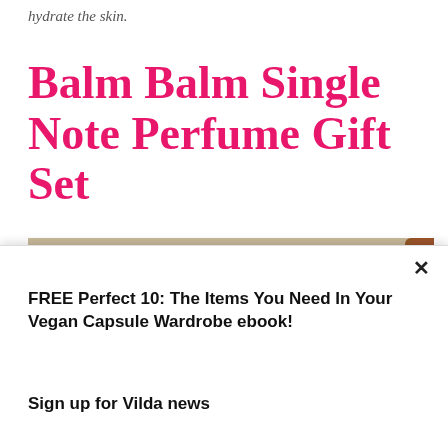hydrate the skin.
Balm Balm Single Note Perfume Gift Set
[Figure (photo): Christmas ornament scene with a star-shaped metallic ornament on the left, a gold glittery ball ornament in the upper right, a cinnamon stick on the far right, and a white card partially visible at the bottom center, all on a light wooden/linen background.]
FREE Perfect 10: The Items You Need In Your Vegan Capsule Wardrobe ebook!

Sign up for Vilda news